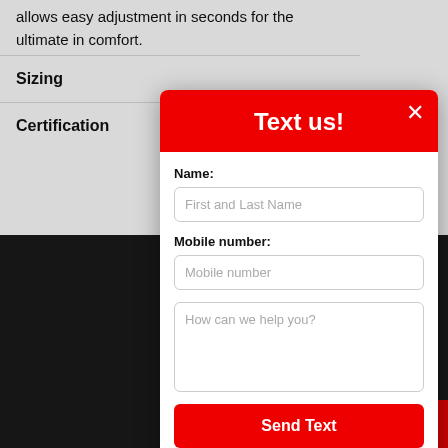allows easy adjustment in seconds for the ultimate in comfort.
Sizing
Certification
[Figure (screenshot): A text us modal popup with red header, name field, mobile number field, message textarea, and Send Text button. Powered by Ikeono shown at bottom.]